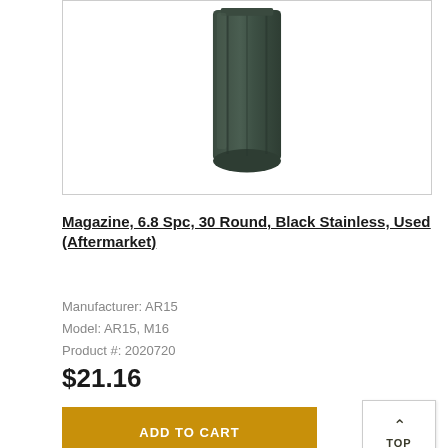[Figure (photo): Product photo of a black stainless steel AR-15 magazine, 30 round, shown vertically against white background with a border box around it.]
Magazine, 6.8 Spc, 30 Round, Black Stainless, Used (Aftermarket)
Manufacturer: AR15
Model: AR15, M16
Product #: 2020720
$21.16
ADD TO CART
↑ TOP
★ Add to My Saved Parts